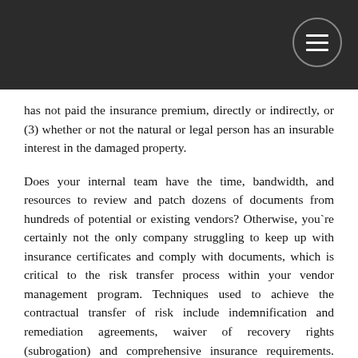has not paid the insurance premium, directly or indirectly, or (3) whether or not the natural or legal person has an insurable interest in the damaged property.
Does your internal team have the time, bandwidth, and resources to review and patch dozens of documents from hundreds of potential or existing vendors? Otherwise, you`re certainly not the only company struggling to keep up with insurance certificates and comply with documents, which is critical to the risk transfer process within your vendor management program. Techniques used to achieve the contractual transfer of risk include indemnification and remediation agreements, waiver of recovery rights (subrogation) and comprehensive insurance requirements. Where contractual provisions on risks are well written, they can effectively protect those entitled to compensation from unforeseen liability by literally transferring the risk to the person entitled to compensation. Of course, it`s not as easy as it sounds. Business Credentialing Services is a technology